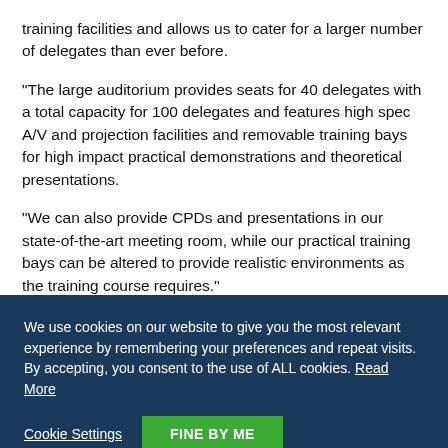training facilities and allows us to cater for a larger number of delegates than ever before.
"The large auditorium provides seats for 40 delegates with a total capacity for 100 delegates and features high spec A/V and projection facilities and removable training bays for high impact practical demonstrations and theoretical presentations.
"We can also provide CPDs and presentations in our state-of-the-art meeting room, while our practical training bays can be altered to provide realistic environments as the training course requires."
A number of college students have already taken part in training at the centre, and bookings are now being taken for upcoming courses.
We use cookies on our website to give you the most relevant experience by remembering your preferences and repeat visits. By accepting, you consent to the use of ALL cookies. Read More
Cookie Settings
FINE BY ME